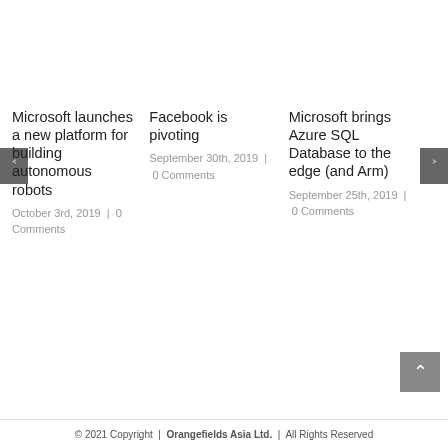Microsoft launches a new platform for building autonomous robots
October 3rd, 2019  |  0 Comments
Facebook is pivoting
September 30th, 2019  |  0 Comments
Microsoft brings Azure SQL Database to the edge (and Arm)
September 25th, 2019  |  0 Comments
© 2021 Copyright  |  Orangefields Asia Ltd.  |  All Rights Reserved